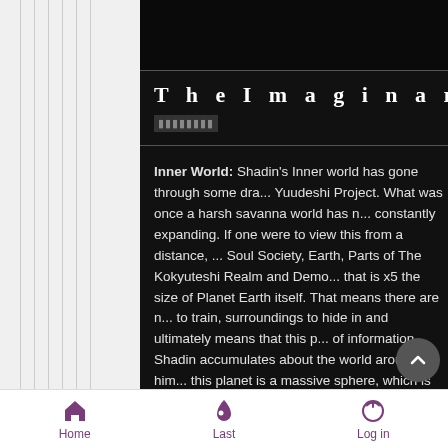TheImaginaryWorld
▮▮▮▮▮▮▮▮
Inner World: Shadin's Inner world has gone through some dra... Yuudeshi Project. What was once a harsh savanna world has n... constantly expanding. If one were to view this from a distance, ... Soul Society, Earth, Parts of The Kokyuteshi Realm and Demo... that is x5 the size of Planet Earth itself. That means there are n... to train, surroundings to hide in and ultimately means that this p... of information Shadin accumulates about the world around him... this planet is a massive sphere, which is roughly the size of i... serves as a database for this world and where his Za... Sp... process this data, rest in her chamber and adjust thi... ...ati... Computation as it comes to her by sharing a bond with Shadin.
Home  Last  Log in